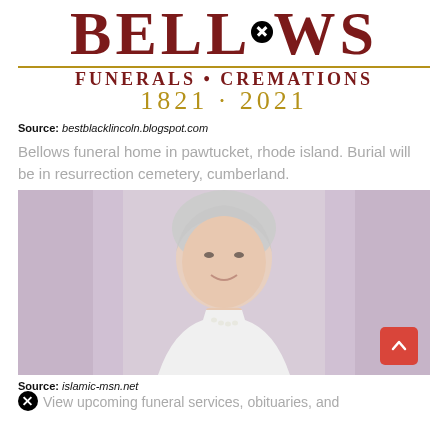[Figure (logo): Bellows Funerals Cremations 1821-2021 logo with red serif letters, gold horizontal rule, and circular X mark]
Source: bestblacklincoln.blogspot.com
Bellows funeral home in pawtucket, rhode island. Burial will be in resurrection cemetery, cumberland.
[Figure (photo): Portrait photo of an elderly woman with short gray hair, pearl necklace, smiling, wearing a white top against a purple-gray background]
Source: islamic-msn.net
View upcoming funeral services, obituaries, and